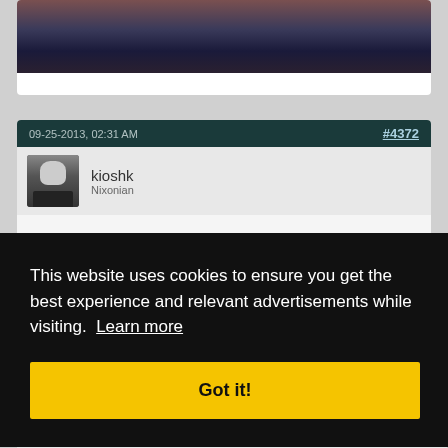[Figure (photo): Partial photo of a person wearing a dark blue shirt, top portion visible, cropped into post card]
09-25-2013, 02:31 AM
#4372
[Figure (photo): Black and white avatar photo resembling Richard Nixon in a suit]
kioshk
Nixonian
to
This website uses cookies to ensure you get the best experience and relevant advertisements while visiting.  Learn more
Got it!
#4373
[Figure (photo): Partial circular avatar at the bottom of the page, colorful pie-chart-like appearance]